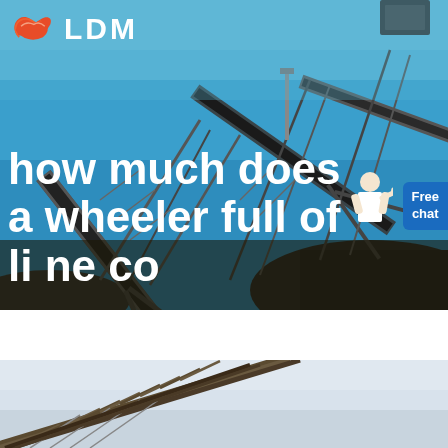[Figure (photo): Industrial conveyor belt / mining processing equipment with blue sky background. LDM logo with orange hand-shake icon in top left. Free chat button in top right with woman figure. Large white text overlay reads: how much does a wheeler full of li ne co]
how much does a wheeler full of li ne co
[Figure (photo): Second photo showing an angled conveyor belt structure against a light grey/white sky, visible at bottom of page.]